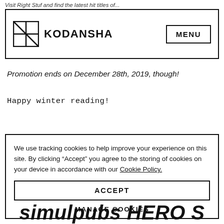Visit Right Stuf and find the latest hit titles of...
[Figure (logo): Kodansha logo with geometric K icon and MENU button nav bar]
Promotion ends on December 28th, 2019, though!
Happy winter reading!
We use tracking cookies to help improve your experience on this site. By clicking “Accept” you agree to the storing of cookies on your device in accordance with our Cookie Policy.
ACCEPT
MANAGE COOKIES
simulpubs HERO S